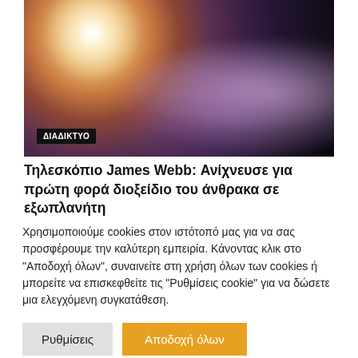[Figure (photo): Space image showing an exoplanet with a glowing orange-purple atmosphere against a dark background, with a bright white star in the upper left. A black badge reading 'ΔΙΑΔΙΚΤΥΟ' is overlaid in the lower left.]
Τηλεσκόπιο James Webb: Ανίχνευσε για πρώτη φορά διοξείδιο του άνθρακα σε εξωπλανήτη
Χρησιμοποιούμε cookies στον ιστότοπό μας για να σας προσφέρουμε την καλύτερη εμπειρία. Κάνοντας κλικ στο "Αποδοχή όλων", συναινείτε στη χρήση όλων των cookies ή μπορείτε να επισκεφθείτε τις "Ρυθμίσεις cookie" για να δώσετε μια ελεγχόμενη συγκατάθεση.
Ρυθμίσεις
Αποδοχή όλων